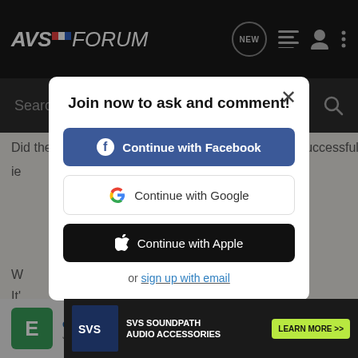AVS FORUM
Search Community
Did the Multi-Region SD DVD hack look like it was successful ie
Join now to ask and comment!
Continue with Facebook
Continue with Google
Continue with Apple
or sign up with email
etc50 • Registered
[Figure (screenshot): SVS Soundpath Audio Accessories advertisement banner with Learn More button]